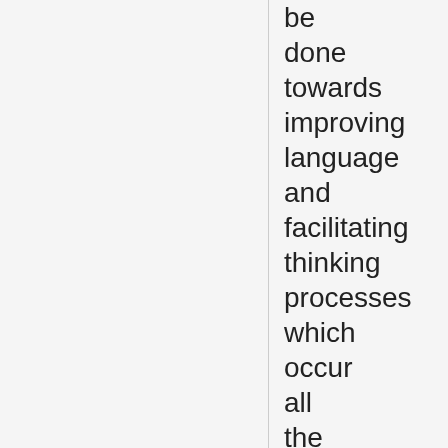be done towards improving language and facilitating thinking processes which occur all the time in practical